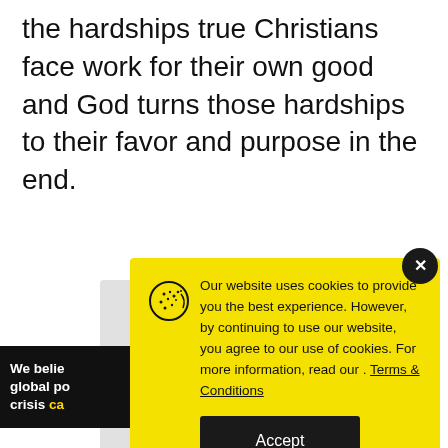the hardships true Christians face work for their own good and God turns those hardships to their favor and purpose in the end.
[Figure (screenshot): Cookie consent banner on yellow background with cookie icon, text about website cookie usage, Terms & Conditions link, and Accept button. A close (X) button is in the top-right corner. Partially overlaid on a media player showing 'No compatible source was found for this media.' Behind the banner is a dark bar with text 'We believe global poverty crisis ca...' and a gray overlay.]